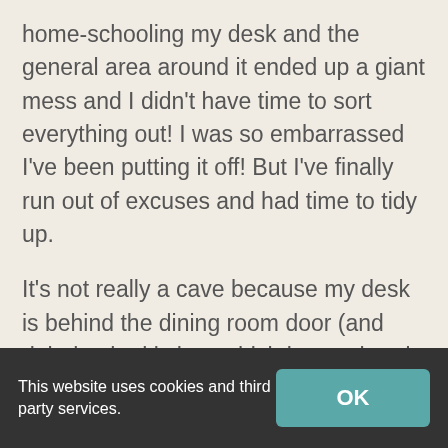home-schooling my desk and the general area around it ended up a giant mess and I didn't have time to sort everything out! I was so embarrassed I've been putting it off! But I've finally run out of excuses and had time to tidy up.
It's not really a cave because my desk is behind the dining room door (and right by the kitchen which is very handy for snacks but not quite so good for my waistline!). But I do get have the back door open in the summer and listen to the birds sing while I'm writing. If I have early morning writing sessions it's particularly lovely to watch the light change as the
This website uses cookies and third party services.